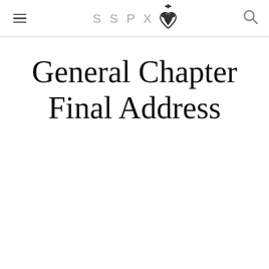SSPX [logo]
General Chapter Final Address